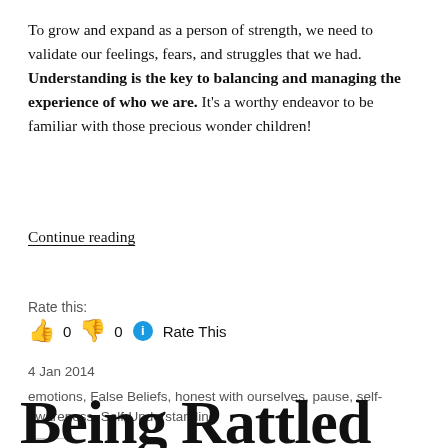To grow and expand as a person of strength, we need to validate our feelings, fears, and struggles that we had. Understanding is the key to balancing and managing the experience of who we are. It's a worthy endeavor to be familiar with those precious wonder children!
Continue reading
Rate this:
👍 0 👎 0 ℹ Rate This
4 Jan 2014
emotions, False Beliefs, honest with ourselves, pause, self-awareness, Self-Understanding
Being Rattled